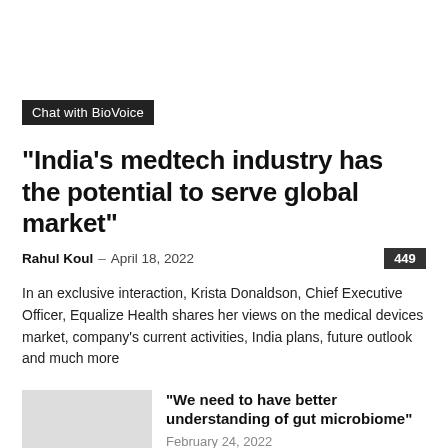Chat with BioVoice
“India’s medtech industry has the potential to serve global market”
Rahul Koul – April 18, 2022   449
In an exclusive interaction, Krista Donaldson, Chief Executive Officer, Equalize Health shares her views on the medical devices market, company’s current activities, India plans, future outlook and much more
“We need to have better understanding of gut microbiome”
February 24, 2022
“Murata Vios plans to expand its foot prints